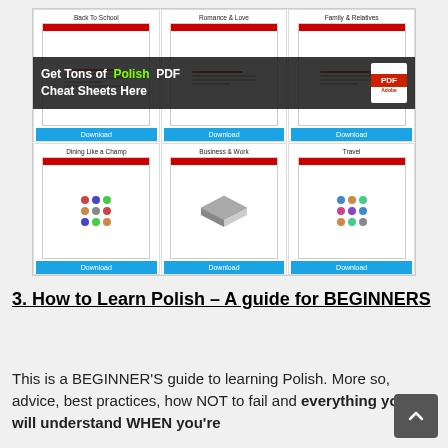[Figure (screenshot): A screenshot showing a grid of 6 Polish PDF cheat sheet download cards (Back To School, Romance & Love, Family & Relatives, Dining Like a Champ, Business & Work, Travel), each with a thumbnail image and a blue Download button. A dark overlay banner reads 'Get Tons of Polish PDF Cheat Sheets Here' with a PDF icon on the right.]
3. How to Learn Polish – A guide for BEGINNERS
This is a BEGINNER'S guide to learning Polish. More so, advice, best practices, how NOT to fail and everything you will understand WHEN you're